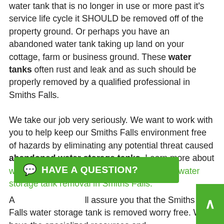water tank that is no longer in use or more past it's service life cycle it SHOULD be removed off of the property ground. Or perhaps you have an abandoned water tank taking up land on your cottage, farm or business ground. These water tanks often rust and leak and as such should be properly removed by a qualified professional in Smiths Falls.
We take our job very seriously. We want to work with you to help keep our Smiths Falls environment free of hazards by eliminating any potential threat caused by abandoned water storage tanks. Learn more about why you should use us for your abandoned water storage tank removal in Smiths Falls.
A[n expert] will assure you that the Smiths Falls water storage tank is removed worry free. We have the specialized resources and
[Figure (other): Green chat button overlay reading HAVE A QUESTION? with speech bubble icon]